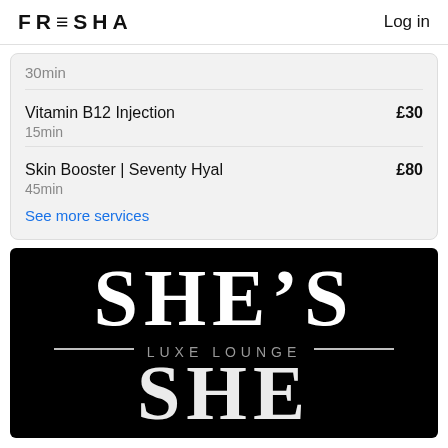FRESHA   Log in
30min
Vitamin B12 Injection  £30
15min
Skin Booster | Seventy Hyal  £80
45min
See more services
[Figure (logo): SHE'S LUXE LOUNGE logo — large white stylized text 'SHE'S' on black background, with 'LUXE LOUNGE' in smaller grey spaced text in the middle, and 'SHE' again partially visible at bottom.]